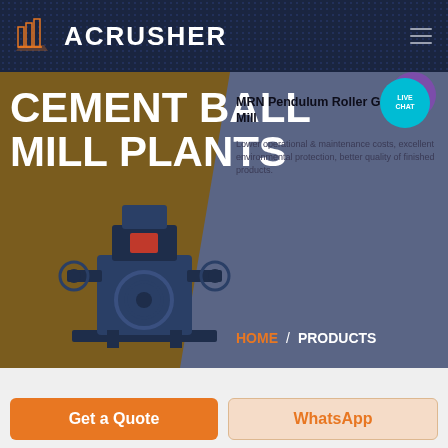ACRUSHER
CEMENT BALL MILL PLANTS
[Figure (photo): Industrial grinding mill machine (MRN Pendulum Roller Grinding Mill) rendered in blue-gray tones on brownish background]
MRN Pendulum Roller Grinding Mill
Lower operational & maintenance costs, excellent environmental protection, better quality of finished products.
HOME / PRODUCTS
Get a Quote
WhatsApp